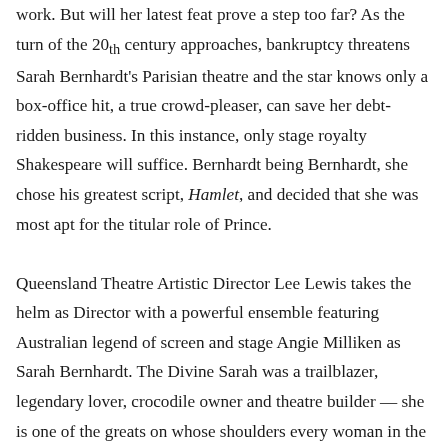work. But will her latest feat prove a step too far? As the turn of the 20th century approaches, bankruptcy threatens Sarah Bernhardt's Parisian theatre and the star knows only a box-office hit, a true crowd-pleaser, can save her debt-ridden business. In this instance, only stage royalty Shakespeare will suffice. Bernhardt being Bernhardt, she chose his greatest script, Hamlet, and decided that she was most apt for the titular role of Prince.

Queensland Theatre Artistic Director Lee Lewis takes the helm as Director with a powerful ensemble featuring Australian legend of screen and stage Angie Milliken as Sarah Bernhardt. The Divine Sarah was a trailblazer, legendary lover, crocodile owner and theatre builder — she is one of the greats on whose shoulders every woman in the theatre stands. Starring alongside